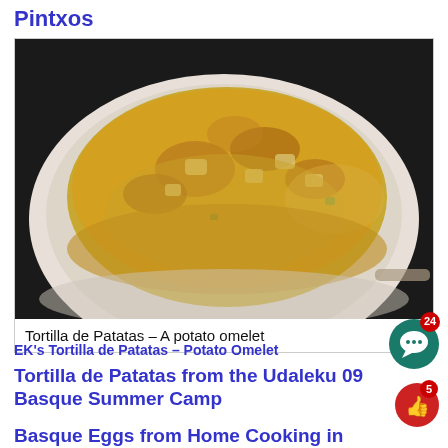Pintxos
[Figure (photo): A photo of Tortilla de Patatas (Spanish potato omelet) on a white plate, golden brown on top with visible potato and vegetable chunks]
Tortilla de Patatas – A potato omelet
EK's Tortilla de Patatas – Potato Omelet
Tortilla de Patatas from the Udaleku 09 Basque Summer Camp
Basque Eggs from Home Cooking in Montana